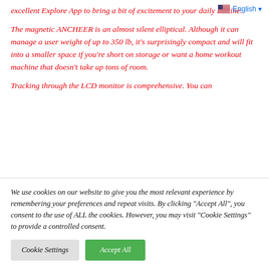excellent Explore App to bring a bit of excitement to your daily routine.
The magnetic ANCHEER is an almost silent elliptical. Although it can manage a user weight of up to 350 lb, it's surprisingly compact and will fit into a smaller space if you're short on storage or want a home workout machine that doesn't take up tons of room.
Tracking through the LCD monitor is comprehensive. You can
We use cookies on our website to give you the most relevant experience by remembering your preferences and repeat visits. By clicking "Accept All", you consent to the use of ALL the cookies. However, you may visit "Cookie Settings" to provide a controlled consent.